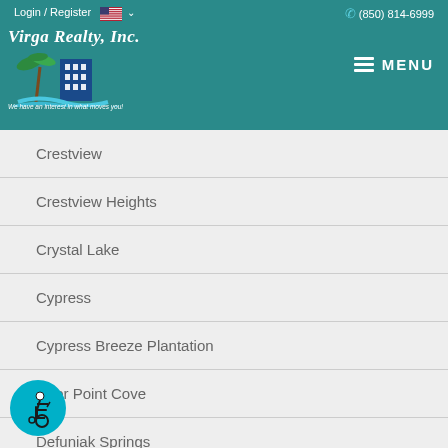Login / Register  (850) 814-6999
[Figure (logo): Virga Realty, Inc. logo with palm trees and building, teal background, tagline: We have an interest in what moves you!]
Crestview
Crestview Heights
Crystal Lake
Cypress
Cypress Breeze Plantation
Deer Point Cove
Defuniak Springs
Dellwood Beach
Derby Woods
[Figure (illustration): Accessibility icon - wheelchair user in teal circle]